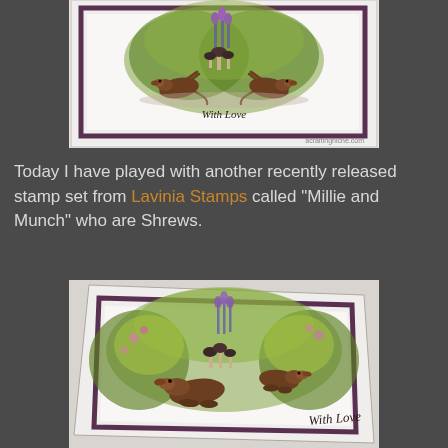[Figure (photo): A handmade greeting card featuring two shrew animals (Millie and Munch) facing each other among colorful wildflowers and mushrooms with 'With Love' text. Card has purple border on white background. Watermark: acraftingniche.com]
Today I have played with another recently released stamp set from Lavinia Stamps called "Millie and Munch" who are Shrews.
[Figure (photo): A close-up angled view of the same handmade greeting card showing the shrew animals among green foliage and purple flowers with 'With Love' text visible on the right side. Card has a dark purple border.]